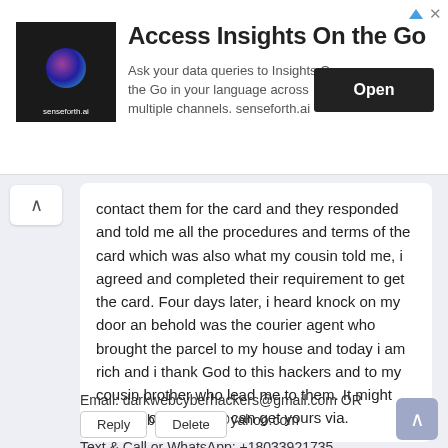[Figure (screenshot): Advertisement banner for 'Insights On the Go' by senseforth.ai with logo, description text, and an 'Open' button.]
contact them for the card and they responded and told me all the procedures and terms of the card which was also what my cousin told me, i agreed and completed their requirement to get the card. Four days later, i heard knock on my door an behold was the courier agent who brought the parcel to my house and today i am rich and i thank God to this hackers and to my cousin brother who lead me to them. It might sounds odd but you can get yours via.
Email: darkwebcyberhackers@gmail.com OR darkwebcyberhackers@yahoo.com
Text & Call or WhatsApp: +18033921735
Visit: https://darkwebcycberhackers.com/